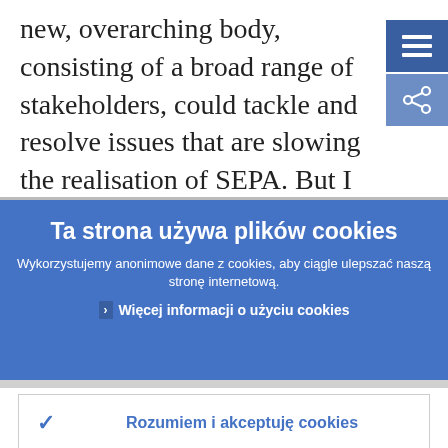new, overarching body, consisting of a broad range of stakeholders, could tackle and resolve issues that are slowing the realisation of SEPA. But I want to repeat that this body would not replace the current
Ta strona używa plików cookies
Wykorzystujemy anonimowe dane z cookies, aby ciągle ulepszać naszą stronę internetową.
› Więcej informacji o użyciu cookies
✓ Rozumiem i akceptuję cookies
✕ Nie akceptuję cookies